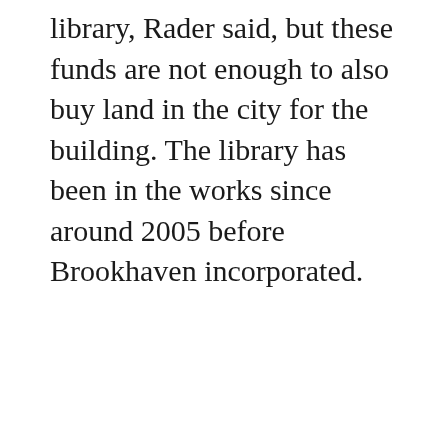library, Rader said, but these funds are not enough to also buy land in the city for the building. The library has been in the works since around 2005 before Brookhaven incorporated.